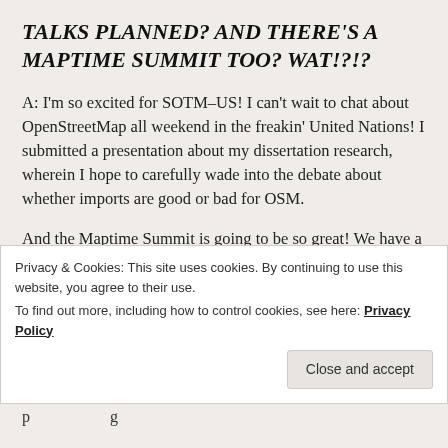TALKS PLANNED? AND THERE'S A MAPTIME SUMMIT TOO? WAT!?!?
A: I'm so excited for SOTM-US! I can't wait to chat about OpenStreetMap all weekend in the freakin' United Nations! I submitted a presentation about my dissertation research, wherein I hope to carefully wade into the debate about whether imports are good or bad for OSM.
And the Maptime Summit is going to be so great! We have a full day of events planned for the day after State of the Map, so please stick around in NYC for one more day and join us for that!
Privacy & Cookies: This site uses cookies. By continuing to use this website, you agree to their use. To find out more, including how to control cookies, see here: Privacy Policy
Close and accept